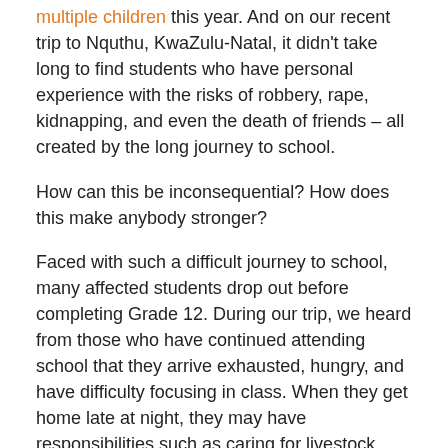multiple children this year. And on our recent trip to Nquthu, KwaZulu-Natal, it didn't take long to find students who have personal experience with the risks of robbery, rape, kidnapping, and even the death of friends – all created by the long journey to school.
How can this be inconsequential? How does this make anybody stronger?
Faced with such a difficult journey to school, many affected students drop out before completing Grade 12. During our trip, we heard from those who have continued attending school that they arrive exhausted, hungry, and have difficulty focusing in class. When they get home late at night, they may have responsibilities such as caring for livestock, fetching water, and helping to bathe siblings, nieces, and nephews before they can study. Some students go to bed at 11:00 pm, only to rise at 4:00 am and start their journey again.
Because of the many hours lost traveling to and from